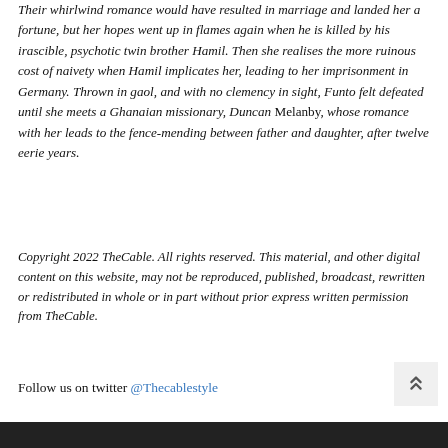Their whirlwind romance would have resulted in marriage and landed her a fortune, but her hopes went up in flames again when he is killed by his irascible, psychotic twin brother Hamil. Then she realises the more ruinous cost of naivety when Hamil implicates her, leading to her imprisonment in Germany. Thrown in gaol, and with no clemency in sight, Funto felt defeated until she meets a Ghanaian missionary, Duncan Melanby, whose romance with her leads to the fence-mending between father and daughter, after twelve eerie years.
Copyright 2022 TheCable. All rights reserved. This material, and other digital content on this website, may not be reproduced, published, broadcast, rewritten or redistributed in whole or in part without prior express written permission from TheCable.
Follow us on twitter @Thecablestyle